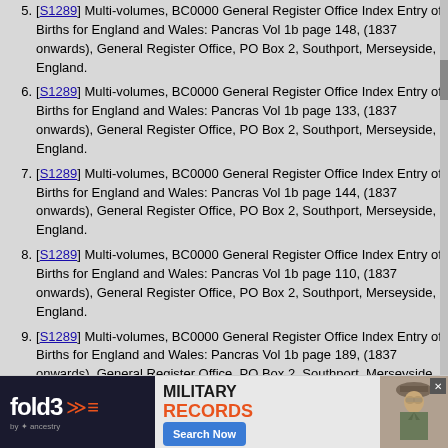5. [S1289] Multi-volumes, BC0000 General Register Office Index Entry of Births for England and Wales: Pancras Vol 1b page 148, (1837 onwards), General Register Office, PO Box 2, Southport, Merseyside, England.
6. [S1289] Multi-volumes, BC0000 General Register Office Index Entry of Births for England and Wales: Pancras Vol 1b page 133, (1837 onwards), General Register Office, PO Box 2, Southport, Merseyside, England.
7. [S1289] Multi-volumes, BC0000 General Register Office Index Entry of Births for England and Wales: Pancras Vol 1b page 144, (1837 onwards), General Register Office, PO Box 2, Southport, Merseyside, England.
8. [S1289] Multi-volumes, BC0000 General Register Office Index Entry of Births for England and Wales: Pancras Vol 1b page 110, (1837 onwards), General Register Office, PO Box 2, Southport, Merseyside, England.
9. [S1289] Multi-volumes, BC0000 General Register Office Index Entry of Births for England and Wales: Pancras Vol 1b page 189, (1837 onwards), General Register Office, PO Box 2, Southport, Merseyside, England.
10. [S1289] Multi-volumes, BC0000 General Register Office Index Entry of Births for England and Wales: Pancras Vol 1b page 174, (1837 onwards), General Register Office, PO Box 2, Southport, Merseyside, England.
11. [S1289] Multi-volumes, BC0000 General Register Office Index Entry of Births for England and Wales: Pancras Vol 1b page 192, (1837 onwards), General Register Office, PO Box 2, Southport, Merseyside, England.
12. [S1289] Multi-volumes, BC0000 General Register Office Index Entry of Births for England and Wales: ...
[Figure (infographic): Advertisement banner for Fold3 Military Records by Ancestry with Search Now button]